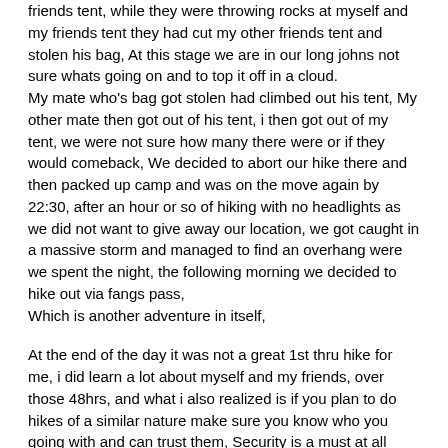friends tent, while they were throwing rocks at myself and my friends tent they had cut my other friends tent and stolen his bag, At this stage we are in our long johns not sure whats going on and to top it off in a cloud.
My mate who's bag got stolen had climbed out his tent, My other mate then got out of his tent, i then got out of my tent, we were not sure how many there were or if they would comeback, We decided to abort our hike there and then packed up camp and was on the move again by 22:30, after an hour or so of hiking with no headlights as we did not want to give away our location, we got caught in a massive storm and managed to find an overhang were we spent the night, the following morning we decided to hike out via fangs pass,
Which is another adventure in itself,
At the end of the day it was not a great 1st thru hike for me, i did learn a lot about myself and my friends, over those 48hrs, and what i also realized is if you plan to do hikes of a similar nature make sure you know who you going with and can trust them, Security is a must at all times, caves or no caves.security must not be overlooked and don't let your guard down just because you are on one of the most spectacular mountain ranges in the world.
If you have not experienced crime in the Berg yet and you go often you have been very fortunate up until now, but the reality of this